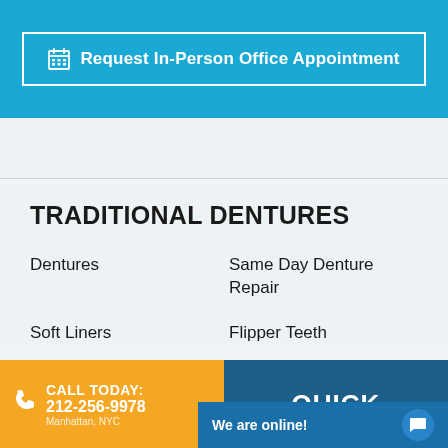[Figure (other): Blue banner with 'Request In-Person Office Appointment' button with calendar icon, white border outline on cyan/blue background]
TRADITIONAL DENTURES
Dentures
Same Day Denture Repair
Soft Liners
Flipper Teeth
CALL TODAY: 212-256-9978
QUICK
We are online!